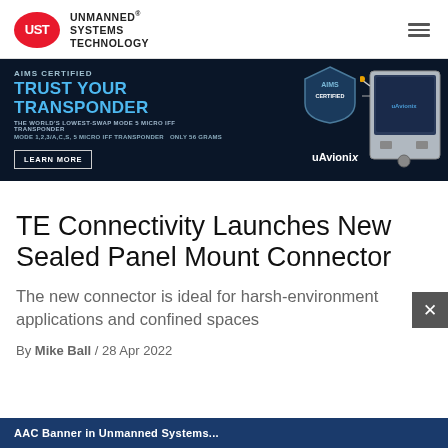UST UNMANNED® SYSTEMS TECHNOLOGY
[Figure (infographic): uAvionix advertisement banner: AIMS CERTIFIED - TRUST YOUR TRANSPONDER - THE WORLD'S LOWEST-SWAP MODE 5 MICRO IFF TRANSPONDER - MODE 1,2,3/A,C,S, 5 MICRO IFF TRANSPONDER ONLY 56 GRAMS - LEARN MORE button - uAvionix logo and device image]
TE Connectivity Launches New Sealed Panel Mount Connector
The new connector is ideal for harsh-environment applications and confined spaces
By Mike Ball / 28 Apr 2022